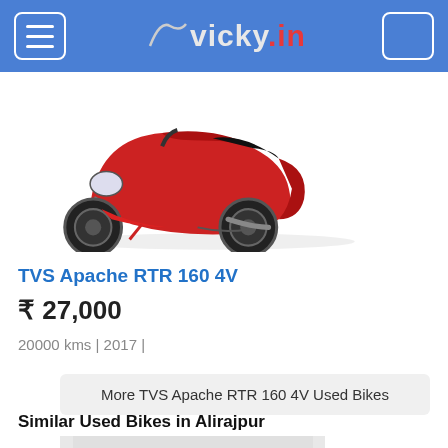vicky.in
[Figure (photo): Red TVS Apache RTR 160 4V motorcycle facing left on white background]
TVS Apache RTR 160 4V
₹ 27,000
20000 kms | 2017 |
More TVS Apache RTR 160 4V Used Bikes
Similar Used Bikes in Alirajpur
[Figure (photo): Black motorcycle (similar used bike) on grey background]